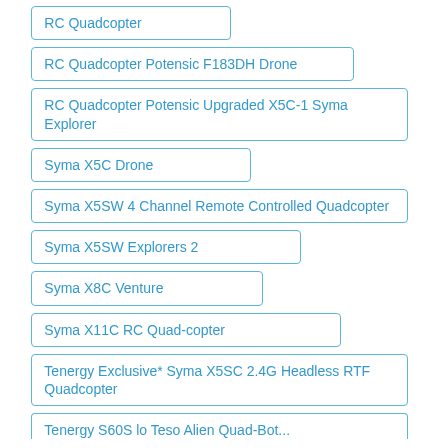RC Quadcopter
RC Quadcopter Potensic F183DH Drone
RC Quadcopter Potensic Upgraded X5C-1 Syma Explorer
Syma X5C Drone
Syma X5SW 4 Channel Remote Controlled Quadcopter
Syma X5SW Explorers 2
Syma X8C Venture
Syma X11C RC Quad-copter
Tenergy Exclusive* Syma X5SC 2.4G Headless RTF Quadcopter
Tenergy S60S lo Teso Alien Quad-Bot...